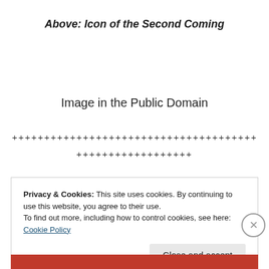Above: Icon of the Second Coming
Image in the Public Domain
+++++++++++++++++++++++++++++++++++++++++++++++++
++++++++++++++++++
Privacy & Cookies: This site uses cookies. By continuing to use this website, you agree to their use.
To find out more, including how to control cookies, see here: Cookie Policy
Close and accept